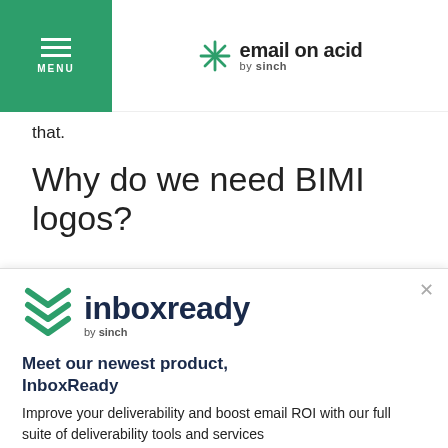email on acid by sinch
that.
Why do we need BIMI logos?
[Figure (logo): InboxReady by Sinch logo with teal chevron/layers icon]
Meet our newest product, InboxReady
Improve your deliverability and boost email ROI with our full suite of deliverability tools and services
Learn More